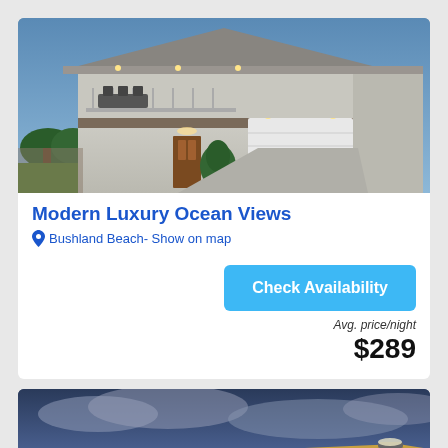[Figure (photo): Exterior photo of a modern two-storey house with garage, outdoor lighting at dusk, balcony with outdoor furniture]
Modern Luxury Ocean Views
Bushland Beach- Show on map
Check Availability
Avg. price/night
$289
[Figure (photo): Exterior photo of a modern building with illuminated canopy structure against a dramatic cloudy sky at dusk]